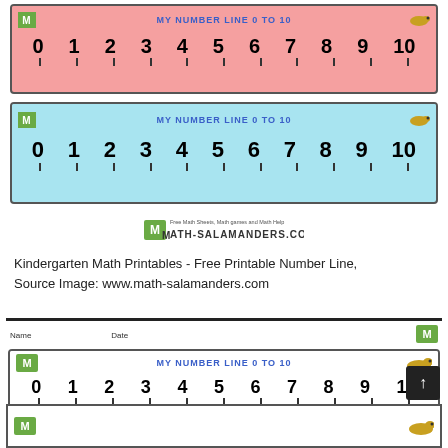[Figure (illustration): Pink number line 0 to 10 with Math Salamanders logo and lizard graphic, tick marks below numbers]
[Figure (illustration): Blue number line 0 to 10 with Math Salamanders logo and lizard graphic, tick marks below numbers]
[Figure (logo): Math-Salamanders.com logo with text Free Math Sheets, Math games and Math Help]
Kindergarten Math Printables - Free Printable Number Line, Source Image: www.math-salamanders.com
[Figure (illustration): Bottom worksheet section with Name and Date fields, white number line 0 to 10 with Math Salamanders logo and lizard/gecko graphic]
[Figure (illustration): Partial view of another number line card at bottom of page]